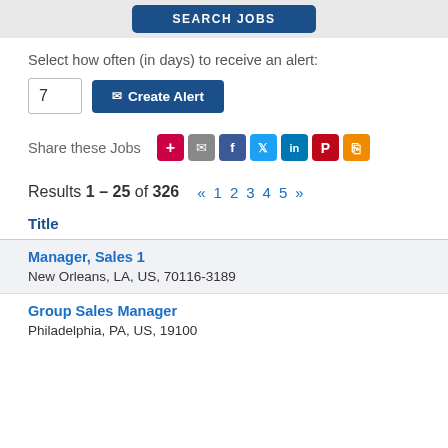[Figure (screenshot): Top gray bar with a dark blue SEARCH JOBS button (partially visible/cropped)]
Select how often (in days) to receive an alert:
[Figure (screenshot): Input field with value 7 and a dark blue Create Alert button with envelope icon]
Share these Jobs
[Figure (infographic): Row of social share icons: +, email, Facebook, Twitter, LinkedIn, Pinterest, RSS]
Results 1 – 25 of 326
« 1 2 3 4 5 »
Title
Manager, Sales 1
New Orleans, LA, US, 70116-3189
Group Sales Manager
Philadelphia, PA, US, 19100